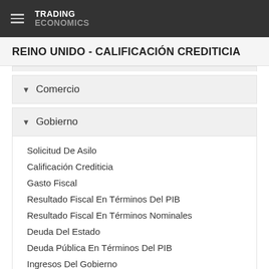TRADING ECONOMICS
REINO UNIDO - CALIFICACIÓN CREDITICIA
Comercio
Gobierno
Solicitud De Asilo
Calificación Crediticia
Gasto Fiscal
Resultado Fiscal En Términos Del PIB
Resultado Fiscal En Términos Nominales
Deuda Del Estado
Deuda Pública En Términos Del PIB
Ingresos Del Gobierno
Gasto Público
Gasto Público En % Del PIB
Vacaciones